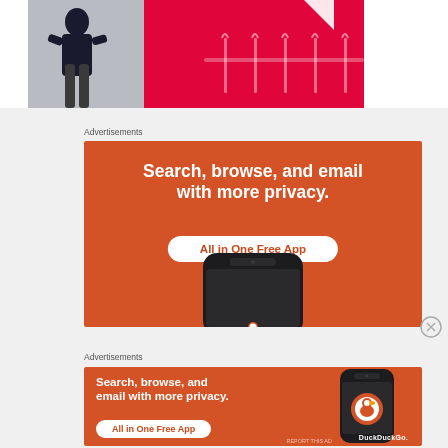[Figure (photo): Partial view of a fashion advertisement: a woman in a dark outfit standing in front of a red background with clothing hangers visible on the right.]
Advertisements
[Figure (infographic): DuckDuckGo advertisement on orange background: 'Search, browse, and email with more privacy. All in One Free App' with a smartphone showing the app at the bottom.]
Advertisements
[Figure (infographic): DuckDuckGo advertisement on orange background: 'Search, browse, and email with more privacy. All in One Free App' with a smartphone and DuckDuckGo logo on the right.]